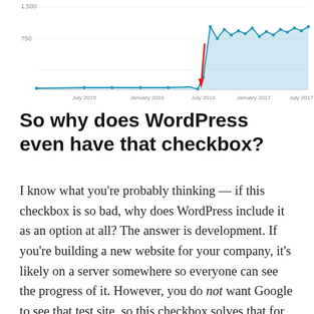[Figure (area-chart): Area/line chart showing web traffic from July 2015 to July 2017. The line is flat near zero until around July 2016 where a red arrow points to a sharp dip, then traffic rises steeply and fluctuates at a higher level. Y-axis shows values around 750 and 1,500.]
So why does WordPress even have that checkbox?
I know what you're probably thinking — if this checkbox is so bad, why does WordPress include it as an option at all? The answer is development. If you're building a new website for your company, it's likely on a server somewhere so everyone can see the progress of it. However, you do not want Google to see that test site, so this checkbox solves that for you. The issue is that when the test site goes live and becomes the main site, people often forget to uncheck that box.